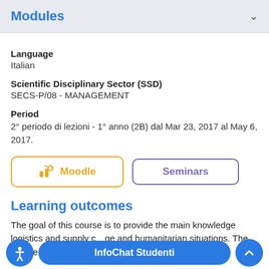Modules
Language
Italian
Scientific Disciplinary Sector (SSD)
SECS-P/08 - MANAGEMENT
Period
2° periodo di lezioni - 1° anno (2B) dal Mar 23, 2017 al May 6, 2017.
[Figure (other): Moodle button with graduation cap icon in orange border, and Seminars button with purple border]
Learning outcomes
The goal of this course is to provide the main knowledge logistics and supply c... ge and humanitarian situations. The course will describe the